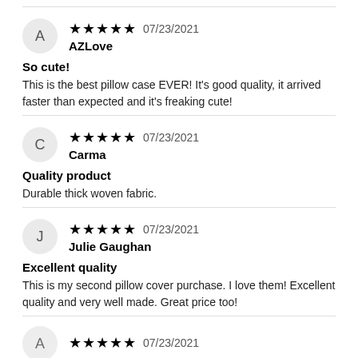A AZLove 07/23/2021 — So cute! — This is the best pillow case EVER! It's good quality, it arrived faster than expected and it's freaking cute!
C Carma 07/23/2021 — Quality product — Durable thick woven fabric.
J Julie Gaughan 07/23/2021 — Excellent quality — This is my second pillow cover purchase. I love them! Excellent quality and very well made. Great price too!
07/23/2021 (partial, reviewer name cut off)